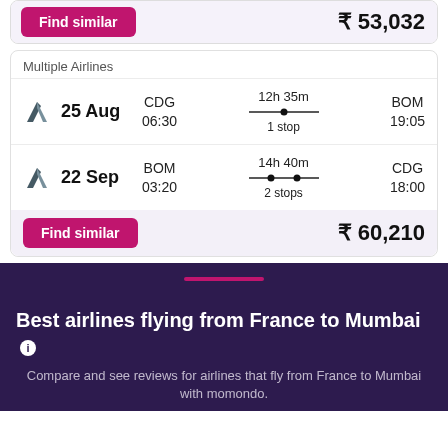Find similar | ₹ 53,032
Multiple Airlines
25 Aug | CDG 06:30 | 12h 35m 1 stop | BOM 19:05
22 Sep | BOM 03:20 | 14h 40m 2 stops | CDG 18:00
Find similar | ₹ 60,210
Best airlines flying from France to Mumbai
Compare and see reviews for airlines that fly from France to Mumbai with momondo.